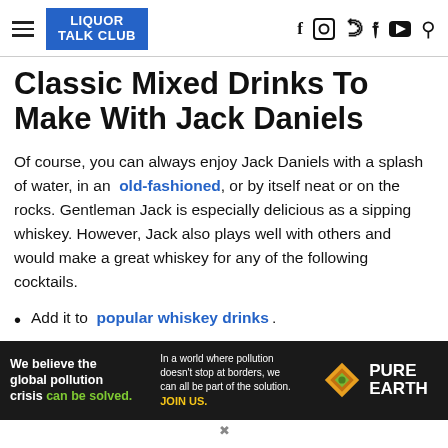LIQUOR TALK CLUB
Classic Mixed Drinks To Make With Jack Daniels
Of course, you can always enjoy Jack Daniels with a splash of water, in an old-fashioned, or by itself neat or on the rocks. Gentleman Jack is especially delicious as a sipping whiskey. However, Jack also plays well with others and would make a great whiskey for any of the following cocktails.
Add it to popular whiskey drinks .
Enjoy it in a four horseman drink, where Jack meets up
[Figure (other): Pure Earth advertisement banner: 'We believe the global pollution crisis can be solved.' with text about pollution not stopping at borders and JOIN US call to action, with Pure Earth logo.]